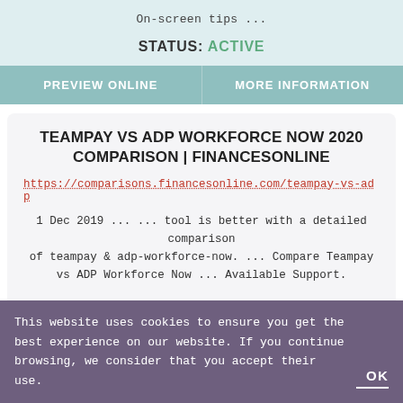On-screen tips ...
STATUS: ACTIVE
PREVIEW ONLINE
MORE INFORMATION
TEAMPAY VS ADP WORKFORCE NOW 2020 COMPARISON | FINANCESONLINE
https://comparisons.financesonline.com/teampay-vs-adp
1 Dec 2019 ... ... tool is better with a detailed comparison of teampay & adp-workforce-now. ... Compare Teampay vs ADP Workforce Now ... Available Support.
STATUS: ACTIVE
This website uses cookies to ensure you get the best experience on our website. If you continue browsing, we consider that you accept their use.